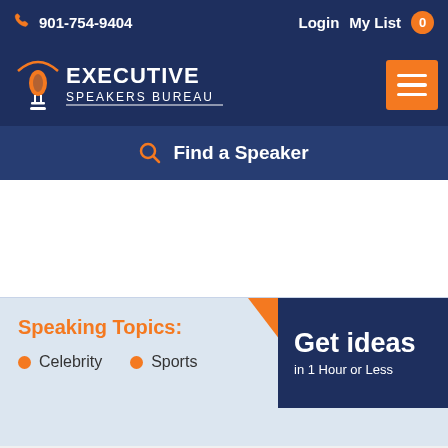901-754-9404   Login   My List 0
[Figure (logo): Executive Speakers Bureau logo with microphone icon and orange arc]
Find a Speaker
Speaking Topics:
Celebrity
Sports
Get ideas in 1 Hour or Less